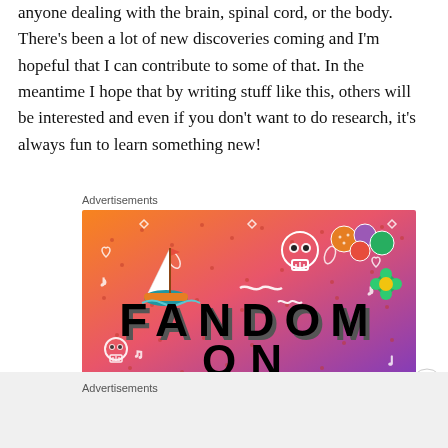anyone dealing with the brain, spinal cord, or the body. There's been a lot of new discoveries coming and I'm hopeful that I can contribute to some of that. In the meantime I hope that by writing stuff like this, others will be interested and even if you don't want to do research, it's always fun to learn something new!
Advertisements
[Figure (illustration): Fandom on Tumblr advertisement banner with colorful orange-to-purple gradient background, featuring cartoon icons (sailboat, skull, dice, flowers), white doodles, and large bold text reading 'FANDOM ON tumblr']
Advertisements